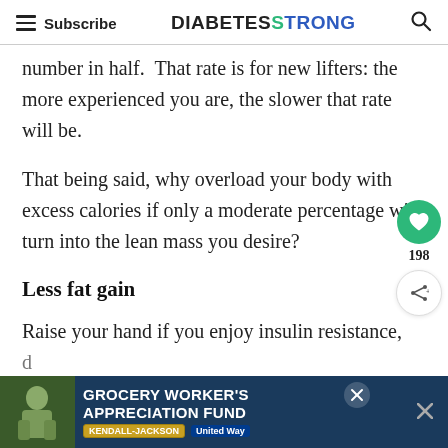Subscribe | DIABETESTRONG
number in half.  That rate is for new lifters: the more experienced you are, the slower that rate will be.
That being said, why overload your body with excess calories if only a moderate percentage will turn into the lean mass you desire?
Less fat gain
Raise your hand if you enjoy insulin resistance, d...
[Figure (infographic): Advertisement banner: GROCERY WORKER'S APPRECIATION FUND with Kendall-Jackson and United Way logos, with close buttons]